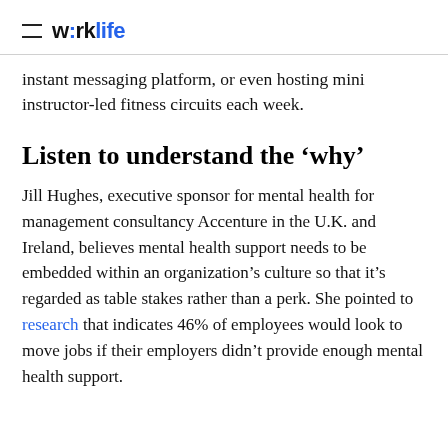w:rklife
instant messaging platform, or even hosting mini instructor-led fitness circuits each week.
Listen to understand the ‘why’
Jill Hughes, executive sponsor for mental health for management consultancy Accenture in the U.K. and Ireland, believes mental health support needs to be embedded within an organization’s culture so that it’s regarded as table stakes rather than a perk. She pointed to research that indicates 46% of employees would look to move jobs if their employers didn’t provide enough mental health support.